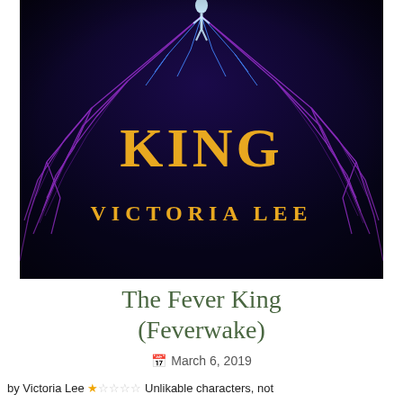[Figure (illustration): Book cover for 'The Fever King' by Victoria Lee — dark background with purple and blue lightning/electricity fractal tree pattern, a glowing human figure at the top center, with 'KING' in large gold/yellow letters in the middle and 'VICTORIA LEE' in gold letters near the bottom]
The Fever King (Feverwake)
March 6, 2019
by Victoria Lee ★☆☆☆☆ Unlikable characters, not